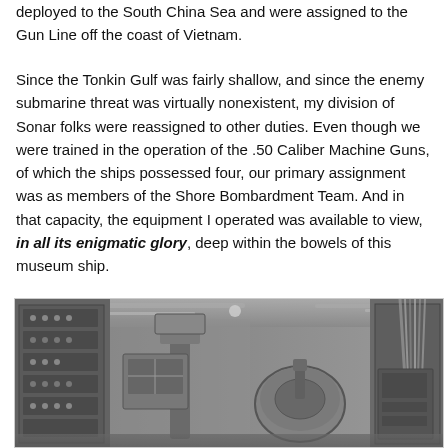deployed to the South China Sea and were assigned to the Gun Line off the coast of Vietnam.
Since the Tonkin Gulf was fairly shallow, and since the enemy submarine threat was virtually nonexistent, my division of Sonar folks were reassigned to other duties. Even though we were trained in the operation of the .50 Caliber Machine Guns, of which the ships possessed four, our primary assignment was as members of the Shore Bombardment Team. And in that capacity, the equipment I operated was available to view, in all its enigmatic glory, deep within the bowels of this museum ship.
[Figure (photo): Black and white photograph of the interior of a museum ship showing naval equipment including sonar/fire control equipment panels on the left, a periscope-like instrument in the center, a large cylindrical gun mount mechanism, and electrical panels with wiring on the right.]